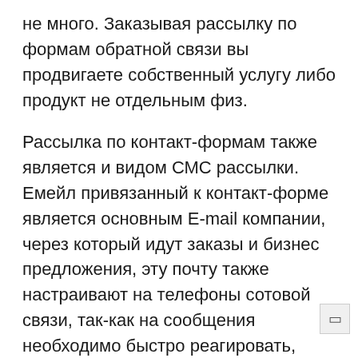не много. Заказывая рассылку по формам обратной связи вы продвигаете собственный услугу либо продукт не отдельным физ.
Рассылка по контакт-формам также является и видом СМС рассылки. Емейл привязанный к контакт-форме является основным E-mail компании, через который идут заказы и бизнес предложения, эту почту также настраивают на телефоны сотовой связи, так-как на сообщения необходимо быстро реагировать, чтоб не утратить заказ либо актуальность бизнес предложения. В базу данных по каждой стране входят в том числе и все совместные организации со всех государств мира, тесновато связанные либо работающие с